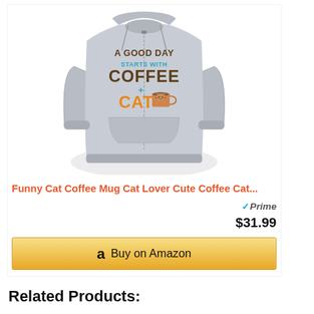[Figure (photo): Gray zip-up hoodie with text 'A Good Day Starts With Coffee + Cat' and a cat in a coffee mug graphic]
Funny Cat Coffee Mug Cat Lover Cute Coffee Cat...
$31.99
Buy on Amazon
Related Products: